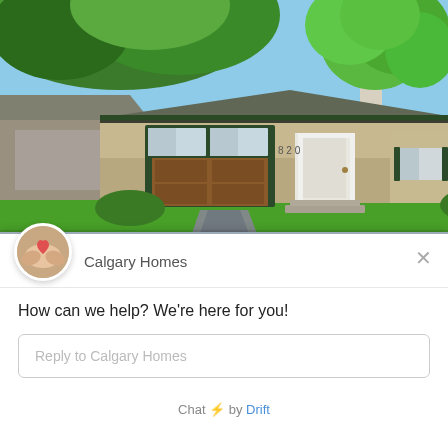[Figure (photo): Exterior photo of a single-storey residential house with tan/beige siding, green trim, large windows with green frames, a wooden garage door, a white front door, lush green lawn, a stone/concrete pathway, and large trees including a birch tree in the foreground. Sky is blue with trees overhead.]
[Figure (illustration): Circular avatar showing hands cupped around a heart shape, representing the Calgary Homes chat agent logo.]
Calgary Homes
×
How can we help? We're here for you!
Reply to Calgary Homes
Chat ⚡ by Drift